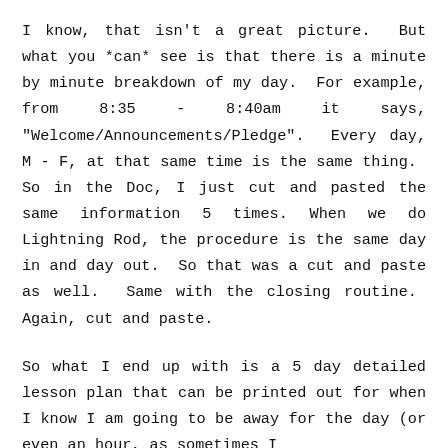I know, that isn't a great picture. But what you *can* see is that there is a minute by minute breakdown of my day. For example, from 8:35 - 8:40am it says, "Welcome/Announcements/Pledge". Every day, M - F, at that same time is the same thing. So in the Doc, I just cut and pasted the same information 5 times. When we do Lightning Rod, the procedure is the same day in and day out. So that was a cut and paste as well. Same with the closing routine. Again, cut and paste.
So what I end up with is a 5 day detailed lesson plan that can be printed out for when I know I am going to be away for the day (or even an hour, as sometimes I